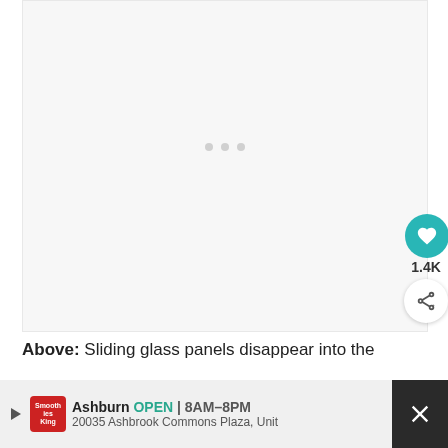[Figure (photo): Large image area showing a mostly blank/loading white rectangle with three small grey dots in the center indicating a loading slideshow or image carousel]
1.4K
Above: Sliding glass panels disappear into the
Ashburn  OPEN  8AM–8PM  20035 Ashbrook Commons Plaza, Unit